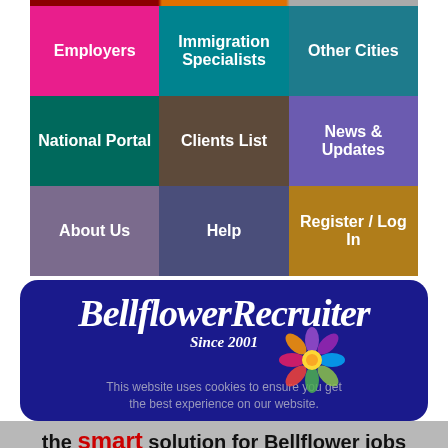[Figure (screenshot): Navigation grid with 9 colored menu buttons: Employers (pink), Immigration Specialists (teal), Other Cities (dark teal), National Portal (dark teal), Clients List (brown), News & Updates (blue-purple), About Us (purple), Help (indigo), Register / Log In (gold)]
BellflowerRecruiter
Since 2001
This website uses cookies to ensure you get the best experience on our website.
the smart solution for Bellflower jobs
Got it!